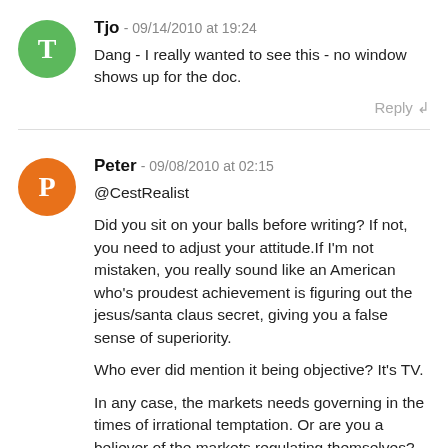Tjo - 09/14/2010 at 19:24
Dang - I really wanted to see this - no window shows up for the doc.
Reply ↲
Peter - 09/08/2010 at 02:15
@CestRealist

Did you sit on your balls before writing? If not, you need to adjust your attitude.If I'm not mistaken, you really sound like an American who's proudest achievement is figuring out the jesus/santa claus secret, giving you a false sense of superiority.

Who ever did mention it being objective? It's TV.

In any case, the markets needs governing in the times of irrational temptation. Or are you a believer of the markets regulating themselves?